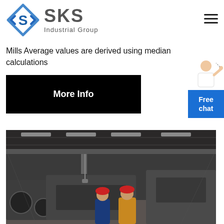[Figure (logo): SKS Industrial Group logo with diamond-shaped blue icon and grey SKS text]
Mills Average values are derived using median calculations
More Info
[Figure (photo): Interior of a large steel industrial factory/warehouse with overhead cranes, workers in safety helmets inspecting heavy equipment]